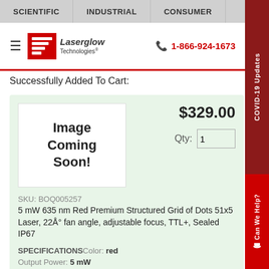SCIENTIFIC | INDUSTRIAL | CONSUMER | CA
[Figure (logo): Laserglow Technologies logo with red graphic and text]
1-866-924-1673
Successfully Added To Cart:
[Figure (other): Image Coming Soon! placeholder box]
$329.00
Qty: 1
SKU: BOQ005257
5 mW 635 nm Red Premium Structured Grid of Dots 51x5 Laser, 22Å° fan angle, adjustable focus, TTL+, Sealed IP67
SPECIFICATIONSColor: red
Output Power: 5 mW
Projection Angle: 22°
Power Supply: B5
View Spec Sheet
COVID-19 Updates
Can We Help?